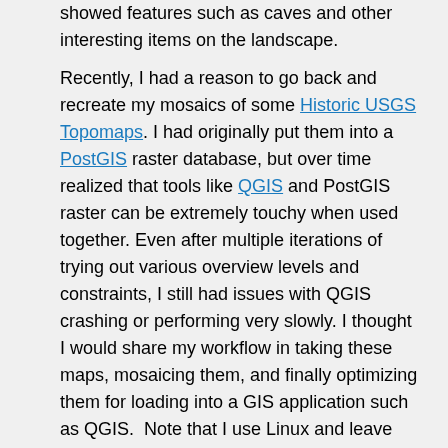showed features such as caves and other interesting items on the landscape.

Recently, I had a reason to go back and recreate my mosaics of some Historic USGS Topomaps. I had originally put them into a PostGIS raster database, but over time realized that tools like QGIS and PostGIS raster can be extremely touchy when used together. Even after multiple iterations of trying out various overview levels and constraints, I still had issues with QGIS crashing or performing very slowly. I thought I would share my workflow in taking these maps, mosaicing them, and finally optimizing them for loading into a GIS application such as QGIS.  Note that I use Linux and leave how to install the prerequisite software as an exercise for the reader.